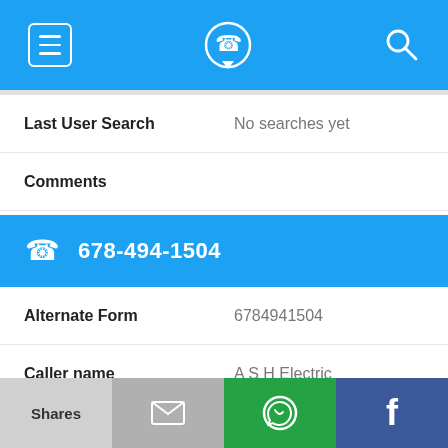Navigation bar with menu, phone logo, and search icons
Last User Search  No searches yet
Comments
678-494-1504
Alternate Form  6784941504
Caller name  A S H Electric
Last User Search  No searches yet
Shares  [email icon]  [WhatsApp icon]  [Facebook icon]